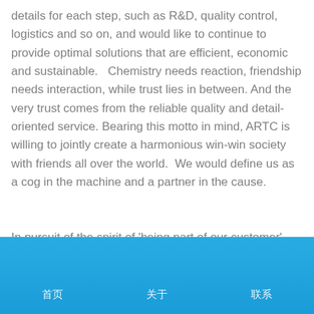details for each step, such as R&D, quality control, logistics and so on, and would like to continue to provide optimal solutions that are efficient, economic and sustainable.   Chemistry needs reaction, friendship needs interaction, while trust lies in between. And the very trust comes from the reliable quality and detail-oriented service. Bearing this motto in mind, ARTC is willing to jointly create a harmonious win-win society with friends all over the world.  We would define us as a cog in the machine and a partner in the cause.
In pursuit of the spirit of 'being part of our customer', we
首页  关于  联系